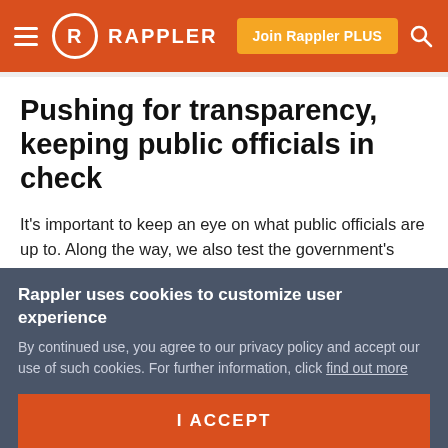RAPPLER — Join Rappler PLUS
Pushing for transparency, keeping public officials in check
It's important to keep an eye on what public officials are up to. Along the way, we also test the government's commitment towards transparency.
Michael Bueza @mikebueza
Published 4:50 PM, November 03, 2017
Updated 4:51 PM, November 03, 2017
Rappler uses cookies to customize user experience
By continued use, you agree to our privacy policy and accept our use of such cookies. For further information, click find out more
I ACCEPT